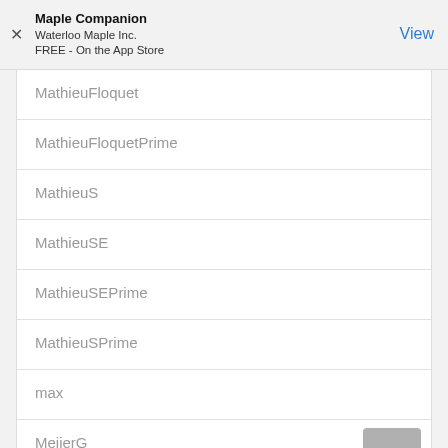Maple Companion
Waterloo Maple Inc.
FREE - On the App Store
MathieuFloquet
MathieuFloquetPrime
MathieuS
MathieuSE
MathieuSEPrime
MathieuSPrime
max
MeijerG
min